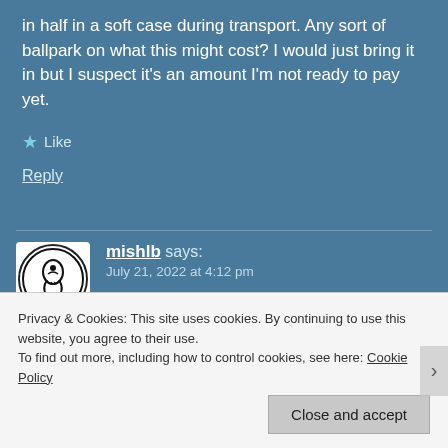in half in a soft case during transport. Any sort of ballpark on what this might cost? I would just bring it in but I suspect it's an amount I'm not ready to pay yet.
★ Like
Reply
mishlb says:
July 21, 2022 at 4:12 pm
It's impossible to say without seeing it in person, but probably in the $200-300 range.
Privacy & Cookies: This site uses cookies. By continuing to use this website, you agree to their use.
To find out more, including how to control cookies, see here: Cookie Policy
Close and accept